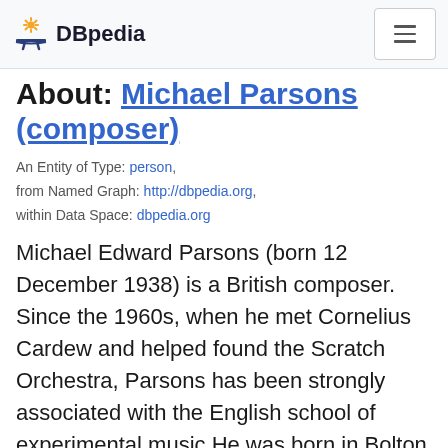DBpedia
About: Michael Parsons (composer)
An Entity of Type: person, from Named Graph: http://dbpedia.org, within Data Space: dbpedia.org
Michael Edward Parsons (born 12 December 1938) is a British composer. Since the 1960s, when he met Cornelius Cardew and helped found the Scratch Orchestra, Parsons has been strongly associated with the English school of experimental music.He was born in Bolton and studied at St John's College,